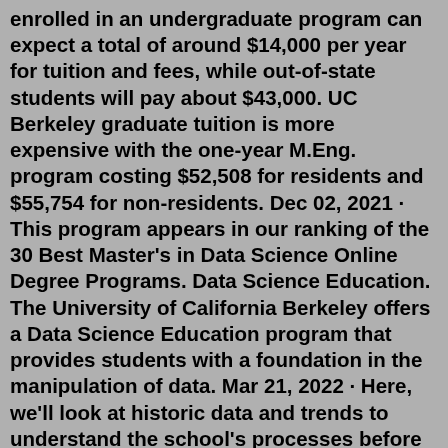enrolled in an undergraduate program can expect a total of around $14,000 per year for tuition and fees, while out-of-state students will pay about $43,000. UC Berkeley graduate tuition is more expensive with the one-year M.Eng. program costing $52,508 for residents and $55,754 for non-residents. Dec 02, 2021 · This program appears in our ranking of the 30 Best Master's in Data Science Online Degree Programs. Data Science Education. The University of California Berkeley offers a Data Science Education program that provides students with a foundation in the manipulation of data. Mar 21, 2022 · Here, we'll look at historic data and trends to understand the school's processes before we discuss Berkeley's Acceptance Rate. Berkeley Admissions. The most significant change is that, starting with the 2021-22 application year, all University of California institutions have adopted a test-blind policy. Access the Graduate & International Admissions Center (GIAC) online to file the $65 application ($90 for non-U.S. students). English transcripts are scanned or mailed to 405 West